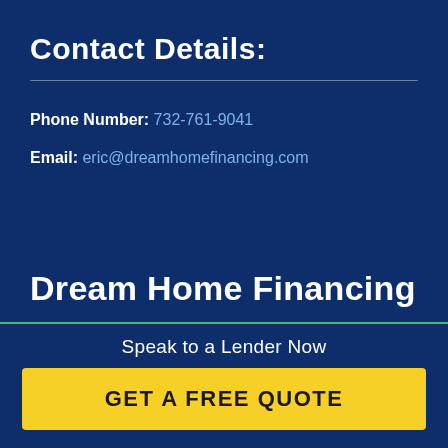Contact Details:
Phone Number:  732-761-9041
Email:  eric@dreamhomefinancing.com
Dream Home Financing
Speak to a Lender Now
GET A FREE QUOTE